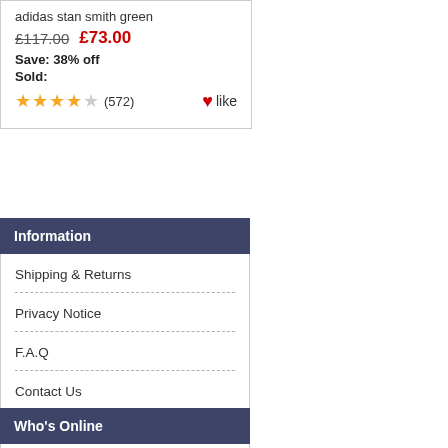adidas stan smith green
£117.00  £73.00
Save: 38% off
Sold:
★★★★☆ (572)  ♥like
Information
Shipping & Returns
Privacy Notice
F.A.Q
Contact Us
Site Map
Gift Certificate FAQ
Discount Coupons
Newsletter Unsubscribe
Who's Online
There currently are 10 guests online.